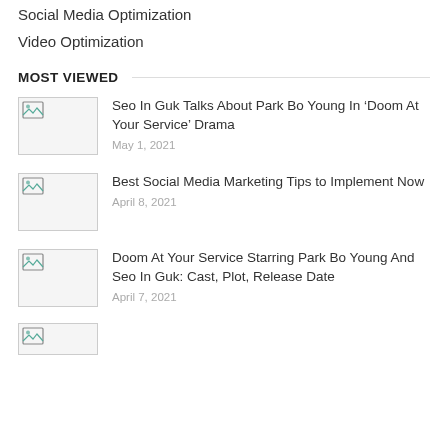Social Media Optimization
Video Optimization
MOST VIEWED
[Figure (other): Thumbnail placeholder image with broken image icon]
Seo In Guk Talks About Park Bo Young In ‘Doom At Your Service’ Drama
May 1, 2021
[Figure (other): Thumbnail placeholder image with broken image icon]
Best Social Media Marketing Tips to Implement Now
April 8, 2021
[Figure (other): Thumbnail placeholder image with broken image icon]
Doom At Your Service Starring Park Bo Young And Seo In Guk: Cast, Plot, Release Date
April 7, 2021
[Figure (other): Thumbnail placeholder image with broken image icon (partial)]